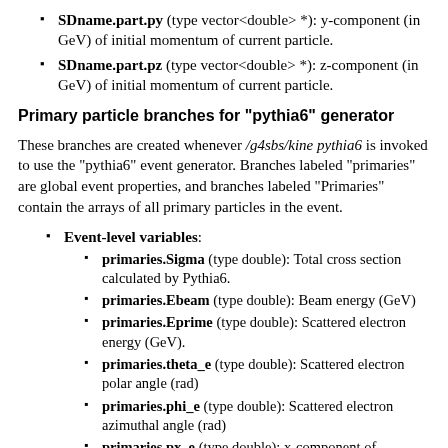SDname.part.py (type vector<double> *): y-component (in GeV) of initial momentum of current particle.
SDname.part.pz (type vector<double> *): z-component (in GeV) of initial momentum of current particle.
Primary particle branches for "pythia6" generator
These branches are created whenever /g4sbs/kine pythia6 is invoked to use the "pythia6" event generator. Branches labeled "primaries" are global event properties, and branches labeled "Primaries" contain the arrays of all primary particles in the event.
Event-level variables:
primaries.Sigma (type double): Total cross section calculated by Pythia6.
primaries.Ebeam (type double): Beam energy (GeV)
primaries.Eprime (type double): Scattered electron energy (GeV).
primaries.theta_e (type double): Scattered electron polar angle (rad)
primaries.phi_e (type double): Scattered electron azimuthal angle (rad)
primaries.px_e (type double): x-component of scattered electron momentum (GeV)
primaries.py_e (type double): y-component of scattered...